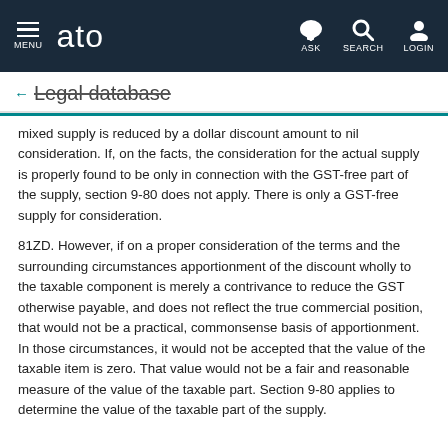MENU | ato | ASK | SEARCH | LOGIN
← Legal database
mixed supply is reduced by a dollar discount amount to nil consideration. If, on the facts, the consideration for the actual supply is properly found to be only in connection with the GST-free part of the supply, section 9-80 does not apply. There is only a GST-free supply for consideration.
81ZD. However, if on a proper consideration of the terms and the surrounding circumstances apportionment of the discount wholly to the taxable component is merely a contrivance to reduce the GST otherwise payable, and does not reflect the true commercial position, that would not be a practical, commonsense basis of apportionment. In those circumstances, it would not be accepted that the value of the taxable item is zero. That value would not be a fair and reasonable measure of the value of the taxable part. Section 9-80 applies to determine the value of the taxable part of the supply.